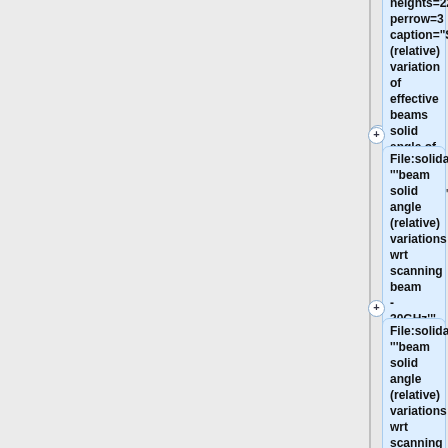heights=220px perrow=3 caption="Sky (relative) variation of effective beams solid angle of the best-fit Gaussian">
File:solidarc_030_GB.png| '''beam solid angle (relative) variations wrt scanning beam - 30GHz'''
File:solidarc_044_GB.png| '''beam solid angle (relative) variations wrt scanning beam